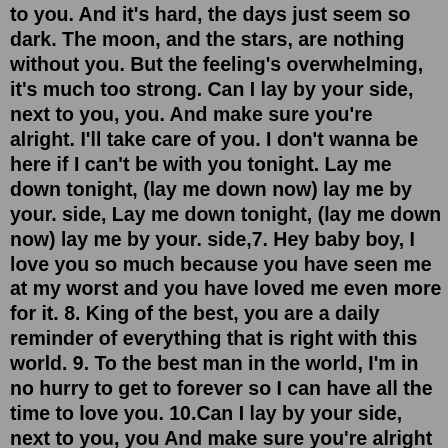to you. And it's hard, the days just seem so dark. The moon, and the stars, are nothing without you. But the feeling's overwhelming, it's much too strong. Can I lay by your side, next to you, you. And make sure you're alright. I'll take care of you. I don't wanna be here if I can't be with you tonight. Lay me down tonight, (lay me down now) lay me by your. side, Lay me down tonight, (lay me down now) lay me by your. side,7. Hey baby boy, I love you so much because you have seen me at my worst and you have loved me even more for it. 8. King of the best, you are a daily reminder of everything that is right with this world. 9. To the best man in the world, I'm in no hurry to get to forever so I can have all the time to love you. 10.Can I lay by your side, next to you, you And make sure you're alright I'll take care of you And I don't want to be here if I can't be with you tonight I'm reaching out to you Can you hear my call? This hurt that I've been through I'm missing you, missing you like crazy Can I lay by your side, next to you, you And make sure you're alright. You can depend on me always